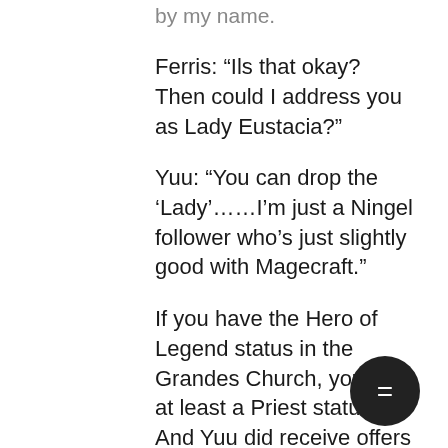by my name.
Ferris: “Ils that okay?  Then could I address you as Lady Eustacia?”
Yuu: “You can drop the ‘Lady’……I’m just a Ningel follower who’s just slightly good with Magecraft.”
If you have the Hero of Legend status in the Grandes Church, you’ll be at least a Priest status.  And Yuu did receive offers of promotion in the Ningel Church, but she refused it because it was too much trouble.”
Ferris: “Miss Eustacia, then.”
Yuu: “Yes, that’s much better.  He your refill.  There is plenty of brea too, so help yourself.”